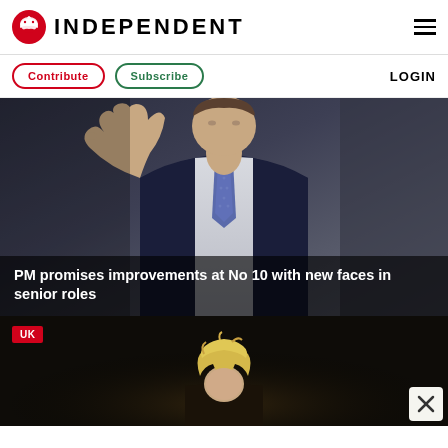INDEPENDENT
Contribute | Subscribe | LOGIN
[Figure (photo): Man in dark suit waving, wearing a blue patterned tie, photo used as hero image with headline overlay: PM promises improvements at No 10 with new faces in senior roles]
PM promises improvements at No 10 with new faces in senior roles
[Figure (photo): UK tagged article showing a blond-haired person in dark background, with a close/dismiss button in the bottom right corner]